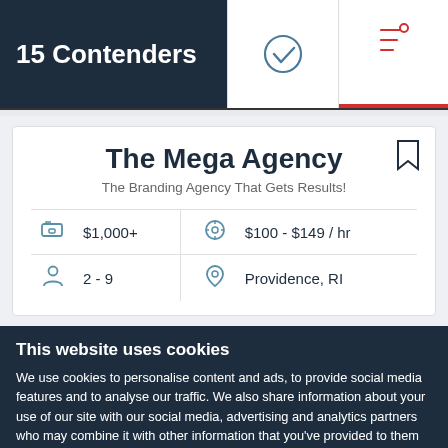15 Contenders
[Figure (screenshot): Navigation tab bar with checkmark icon and filter/sort icon with red underline indicator]
The Mega Agency
The Branding Agency That Gets Results!
| $1,000+ | $100 - $149 / hr |
| 2 - 9 | Providence, RI |
This website uses cookies
We use cookies to personalise content and ads, to provide social media features and to analyse our traffic. We also share information about your use of our site with our social media, advertising and analytics partners who may combine it with other information that you've provided to them or that they've collected from your use of their services. You agree to our cookies if you continue to use our website.
Close
Show details